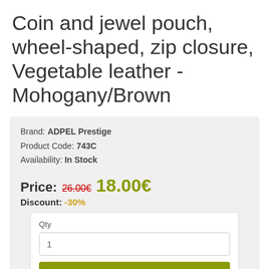Coin and jewel pouch, wheel-shaped, zip closure, Vegetable leather - Mohogany/Brown
Brand: ADPEL Prestige
Product Code: 743C
Availability: In Stock
Price: 26.00€ 18.00€
Discount: -30%
Qty
1
Add to Cart